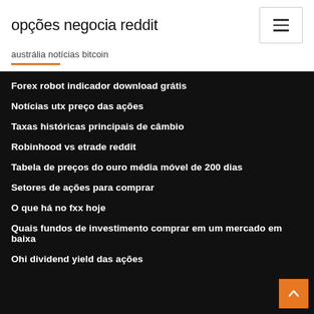opções negocia reddit
austrália notícias bitcoin
Forex robot indicador download grátis
Notícias utx preço das ações
Taxas históricas principais de câmbio
Robinhood vs etrade reddit
Tabela de preços do ouro média móvel de 200 dias
Setores de ações para comprar
O que há no fxx hoje
Quais fundos de investimento comprar em um mercado em baixa
Ohi dividend yield das ações